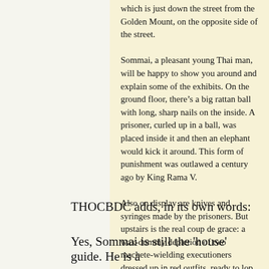which is just down the street from the Golden Mount, on the opposite side of the street.
Sommai, a pleasant young Thai man, will be happy to show you around and explain some of the exhibits. On the ground floor, there’s a big rattan ball with long, sharp nails on the inside. A prisoner, curled up in a ball, was placed inside it and then an elephant would kick it around. This form of punishment was outlawed a century ago by King Rama V.
Also on display are knives and syringes made by the prisoners. But upstairs is the real coup de grace: a wax-dummy depiction of two machete-wielding executioners dressed up in red outfits, ready to lop the head off a condemned man who sits on the ground blindfolded, clutching three lotus blossoms, a yellow candle, and incense. The hands of the condemned man are tied together with the sacred white thread monks use to bless people and ward off evil.
THOCBDC adds, in its own words:
Yes, Sommai is still the 'house' guide. He is a